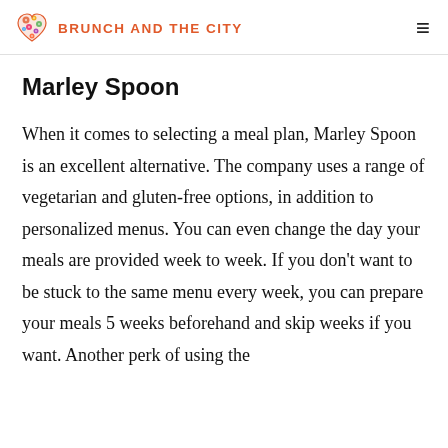BRUNCH AND THE CITY
Marley Spoon
When it comes to selecting a meal plan, Marley Spoon is an excellent alternative. The company uses a range of vegetarian and gluten-free options, in addition to personalized menus. You can even change the day your meals are provided week to week. If you don't want to be stuck to the same menu every week, you can prepare your meals 5 weeks beforehand and skip weeks if you want. Another perk of using the